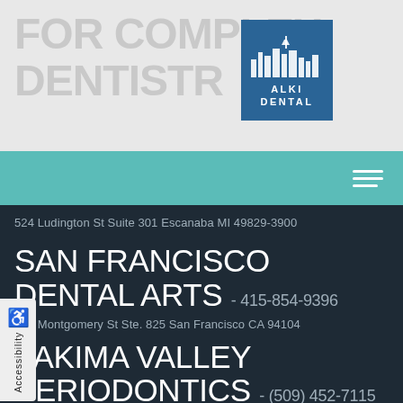[Figure (logo): Alki Dental logo with blue background and stylized skyline]
FOR COMPLEX DENTISTR
SAN FRANCISCO DENTAL ARTS - 415-854-9396
524 Ludington St Suite 301 Escanaba MI 49829-3900
220 Montgomery St Ste. 825 San Francisco CA 94104
YAKIMA VALLEY PERIODONTICS - (509) 452-7115
410 S. 12th Ave Yakima WA 98902-3115